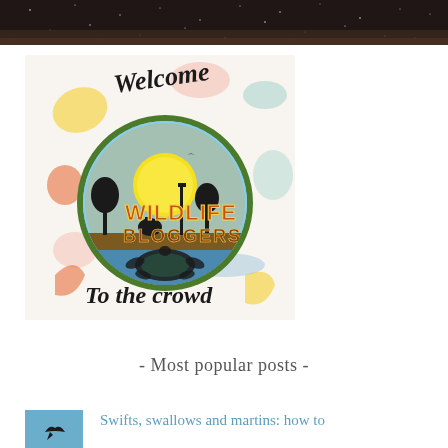[Figure (photo): Dark starry night sky background image at top of page]
[Figure (illustration): Wildlife Bloggers welcome logo image with colorful leaf decorations, circular badge showing African savanna sunset with wildlife silhouettes and sea turtle, text reading 'Welcome' and 'To the crowd' in cursive script]
- Most popular posts -
[Figure (photo): Small thumbnail image of a swift or swallow bird in flight against blue sky]
Swifts, swallows and martins: how to